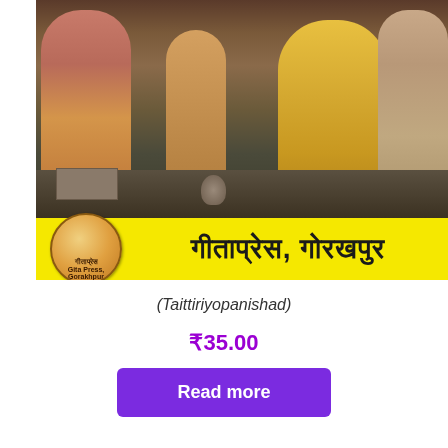[Figure (illustration): Book cover for Taittiriyopanishad published by Gita Press Gorakhpur. Upper portion shows a painting of Hindu sages in a teaching scene — several robed figures seated, with books, a pot, and various objects around them. Lower portion has a yellow banner with the Gita Press logo (circular emblem) on the left and Hindi text 'गीताप्रेस, गोरखपुर' on the right in bold black lettering.]
(Taittiriyopanishad)
₹35.00
Read more